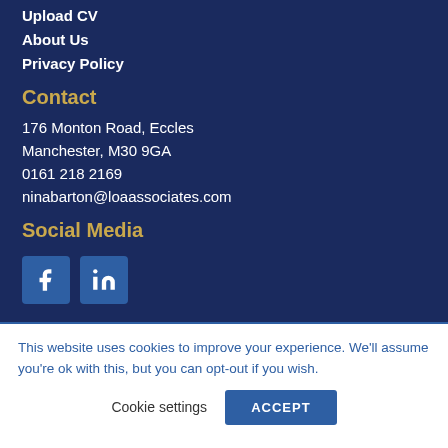Upload CV
About Us
Privacy Policy
Contact
176 Monton Road, Eccles
Manchester, M30 9GA
0161 218 2169
ninabarton@loaassociates.com
Social Media
[Figure (infographic): Facebook and LinkedIn social media icon buttons]
This website uses cookies to improve your experience. We'll assume you're ok with this, but you can opt-out if you wish.
Cookie settings  ACCEPT